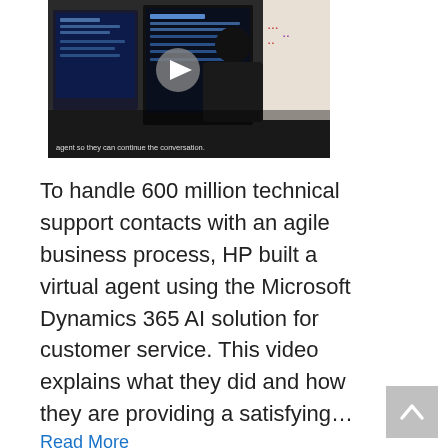[Figure (screenshot): Video thumbnail showing a person at a computer workstation with monitors displaying software interfaces. A play button overlay is visible in the center. Subtitle text reads: 'agent so they can continue the conversation.']
To handle 600 million technical support contacts with an agile business process, HP built a virtual agent using the Microsoft Dynamics 365 AI solution for customer service. This video explains what they did and how they are providing a satisfying…
Read More